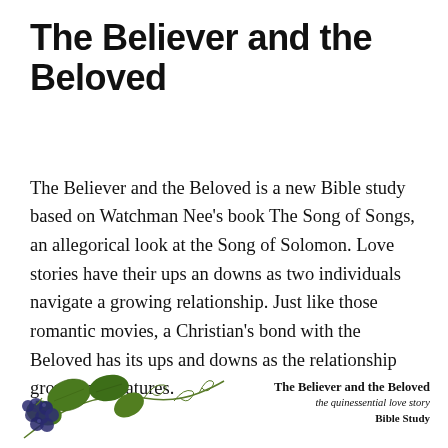The Believer and the Beloved
The Believer and the Beloved is a new Bible study based on Watchman Nee's book The Song of Songs, an allegorical look at the Song of Solomon. Love stories have their ups an downs as two individuals navigate a growing relationship. Just like those romantic movies, a Christian's bond with the Beloved has its ups and downs as the relationship grows and matures.
[Figure (illustration): Decorative illustration of grape vine with dark purple grapes and green leaves with curling tendrils]
The Believer and the Beloved
the quinessential love story
Bible Study